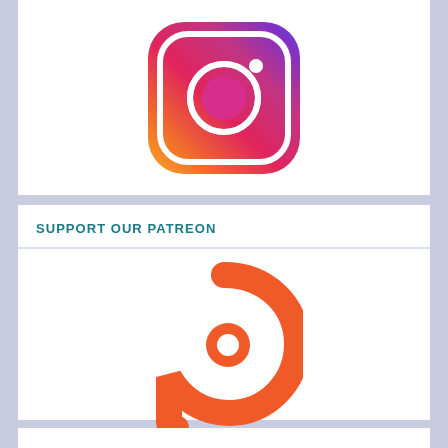[Figure (logo): Instagram logo with gradient from purple/blue at top to pink/red to orange/yellow at bottom right, white rounded square outline and white circle inside]
SUPPORT OUR PATREON
[Figure (logo): Patreon logo - orange stylized letter P with circular bottom loop]
CLICK HERE to save up for rewards from our future crowdfunding! Patreon!